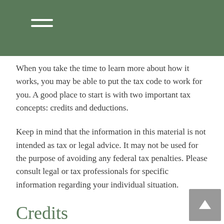When you take the time to learn more about how it works, you may be able to put the tax code to work for you. A good place to start is with two important tax concepts: credits and deductions.
Keep in mind that the information in this material is not intended as tax or legal advice. It may not be used for the purpose of avoiding any federal tax penalties. Please consult legal or tax professionals for specific information regarding your individual situation.
Credits
As tax credits are usually subtracted, dollar for dollar, from the actual tax liability, they potentially have greater leverage in reducing your tax burden than deductions. Tax credits typically have phase-out limits, so consider